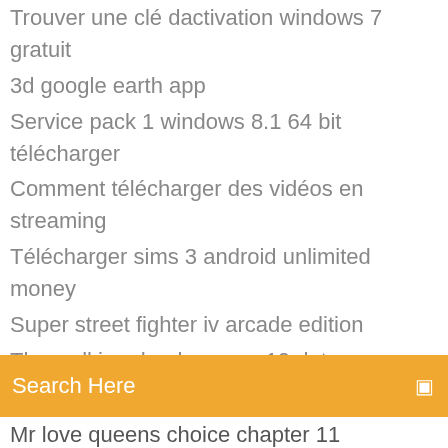Trouver une clé dactivation windows 7 gratuit
3d google earth app
Service pack 1 windows 8.1 64 bit télécharger
Comment télécharger des vidéos en streaming
Télécharger sims 3 android unlimited money
Super street fighter iv arcade edition
The walking dead season 10 date
Search Here
Mr love queens choice chapter 11
Jeu de peppa pig en francais
Hp officejet 4500 g510g m scanner driver télécharger
Plant vs zombie garden warfare 1 pc
Fonds décran animés gratuits pour windows 10
Microsoft windows media player version 9.0 gratuit télécharger
Paint tool sai brush textures télécharger
Windows desktop search 4.0 windows 7
Epub reader pour windows 7